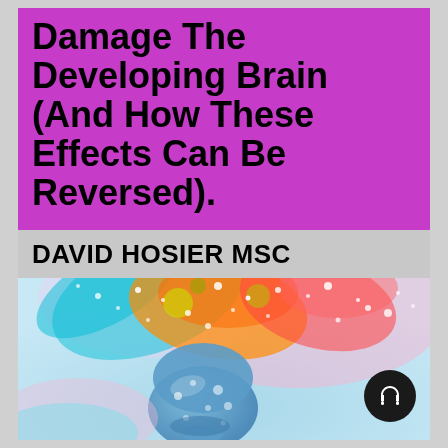Damage The Developing Brain (And How These Effects Can Be Reversed).
DAVID HOSIER MSC
[Figure (illustration): Watercolor-style painting of a human head/brain in blue tones with an explosion of colorful paint (teal, orange, red, pink, white) bursting from the top, representing brain activity or creativity. A headphone icon button overlays the bottom-right corner.]